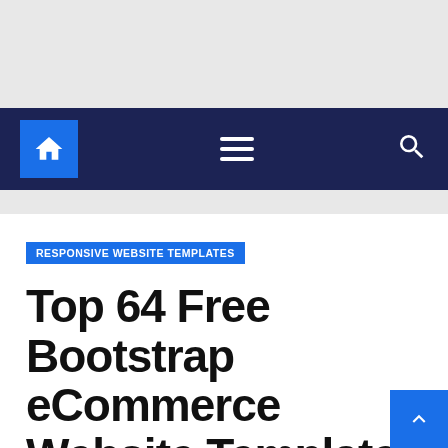[Figure (screenshot): Website navigation bar with dark navy background, home icon in blue square on left, hamburger menu in center, search icon on right]
RESPONSIVE WEBSITE TEMPLATES
Top 64 Free Bootstrap eCommerce Website Templates & Online Store Templates 2022